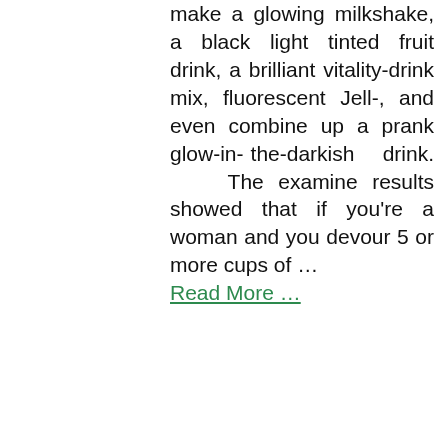make a glowing milkshake, a black light tinted fruit drink, a brilliant vitality-drink mix, fluorescent Jell-, and even combine up a prank glow-in-the-darkish drink. The examine results showed that if you're a woman and you devour 5 or more cups of … Read More …
by Navaeh Isaac — July 31, 2016 in Bar Drinks
FRN@Brown
[Figure (photo): Photo of colorful food dishes in bowls viewed from above]